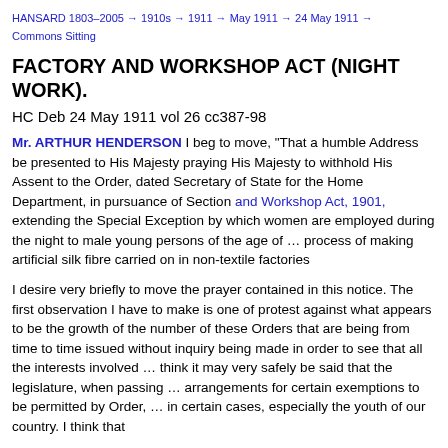HANSARD 1803–2005 → 1910s → 1911 → May 1911 → 24 May 1911 → Commons Sitting
FACTORY AND WORKSHOP ACT (NIGHT WORK).
HC Deb 24 May 1911 vol 26 cc387-98
Mr. ARTHUR HENDERSON I beg to move, "That a humble Address be presented to His Majesty praying His Majesty to withhold His Assent to the Order, dated Secretary of State for the Home Department, in pursuance of Section ... and Workshop Act, 1901, extending the Special Exception by which women are employed during the night to male young persons of the age of ... process of making artificial silk fibre carried on in non-textile fa...
I desire very briefly to move the prayer contained in this notice... observation I have to make is one of protest against what appe... of the number of these Orders that are being from time to time... without inquiry being made in order to see that all the interests... think it may very safely be said that the legislature, when pass... arrangements for certain exemptions to be permitted by Order,... in certain cases, especially the youth of our country. I think tha...